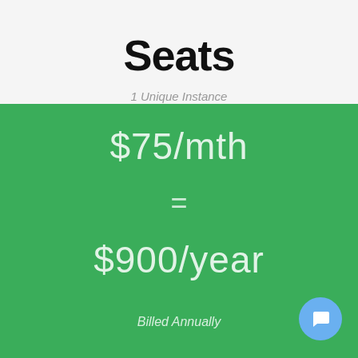Seats
1 Unique Instance
$75/mth
=
$900/year
Billed Annually